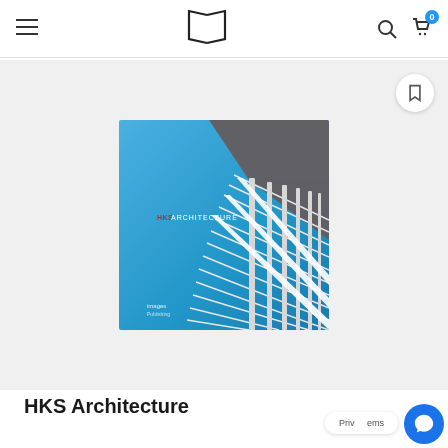Navigation bar with hamburger menu, book logo, search icon, and cart icon with badge 0
[Figure (photo): Book cover of 'HKS Architecture' showing an upward-angle architectural photograph of a modern building facade with horizontal fins against a blue sky. Text reads 'HKS ARCHITECTURE' in white/red. Published by Images Publishing.]
HKS Architecture